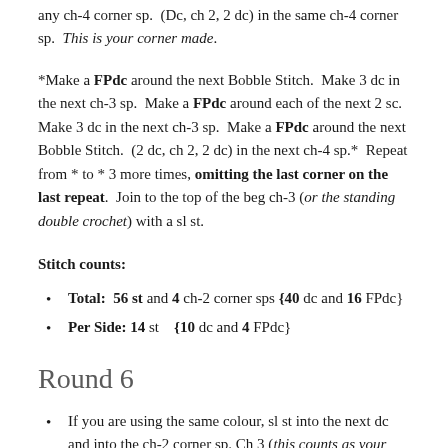any ch-4 corner sp.  (Dc, ch 2, 2 dc) in the same ch-4 corner sp.  This is your corner made.
*Make a FPdc around the next Bobble Stitch.  Make 3 dc in the next ch-3 sp.  Make a FPdc around each of the next 2 sc.  Make 3 dc in the next ch-3 sp.  Make a FPdc around the next Bobble Stitch.  (2 dc, ch 2, 2 dc) in the next ch-4 sp.*  Repeat from * to * 3 more times, omitting the last corner on the last repeat.  Join to the top of the beg ch-3 (or the standing double crochet) with a sl st.
Stitch counts:
Total:  56 st and 4 ch-2 corner sps {40 dc and 16 FPdc}
Per Side: 14 st   {10 dc and 4 FPdc}
Round 6
If you are using the same colour, sl st into the next dc and into the ch-2 corner sp. Ch 3 (this counts as your